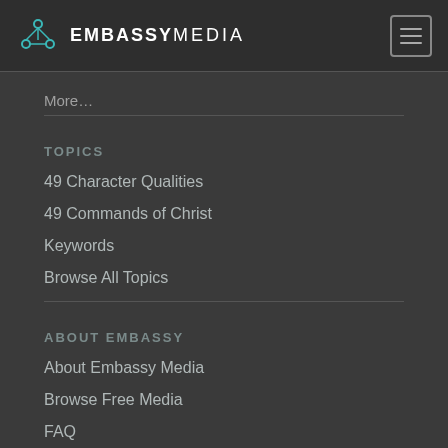EMBASSYMEDIA
More…
TOPICS
49 Character Qualities
49 Commands of Christ
Keywords
Browse All Topics
ABOUT EMBASSY
About Embassy Media
Browse Free Media
FAQ
Contact Us